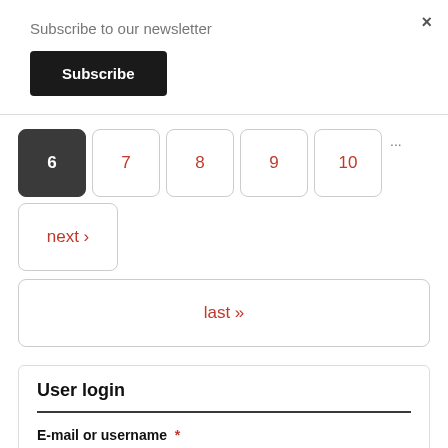×
Subscribe to our newsletter
Subscribe
6
7
8
9
10
next ›
last »
User login
E-mail or username *